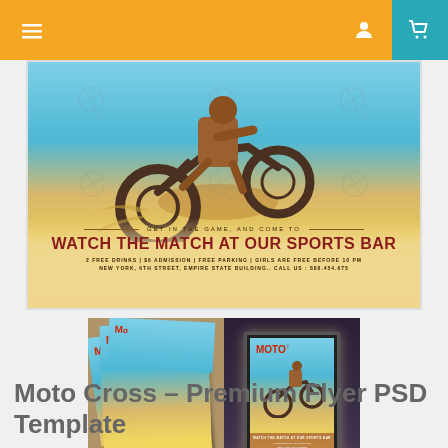Navigation bar with menu, user, and cart icons
[Figure (photo): Main product preview image showing a Moto Cross flyer — motorbike rider jumping on a sandy beach with ocean backdrop. Flyer text reads: GET IN THE GAME, AND COME TO / WATCH THE MATCH AT OUR SPORTS BAR / 2 FREE DRINKS | $6 ADMISSION | FREE PARKING | GIRLS ARE FREE BEFORE 10 PM / NEW YORK, 6TH STREET, EMPIRE STATE BUILDING.. CALL US: 888.454.675]
[Figure (photo): Thumbnail strip showing two mockup previews of the Moto Cross flyer: left is a flat lay of printed flyers, right is a billboard/lightbox display at night.]
Moto Cross – Premium Flyer PSD Template